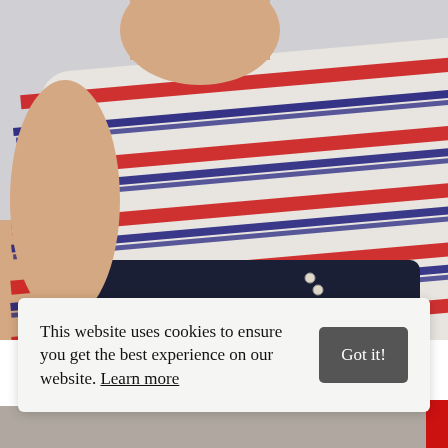[Figure (photo): A child wearing a white t-shirt with red and navy blue stripes, seen from the side/back, sitting against a light grey wall. The child is wearing dark navy shorts.]
This website uses cookies to ensure you get the best experience on our website. Learn more